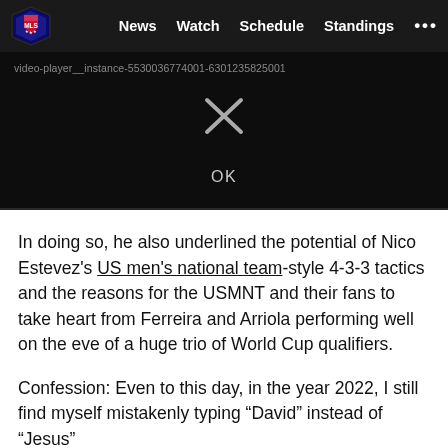MLS | News  Watch  Schedule  Standings  ...
[Figure (screenshot): Video player error dialog on black background showing error ID 'video-player__instance-5530036774001-6301235825001' with an X icon and OK button]
In doing so, he also underlined the potential of Nico Estevez's US men's national team-style 4-3-3 tactics and the reasons for the USMNT and their fans to take heart from Ferreira and Arriola performing well on the eve of a huge trio of World Cup qualifiers.
Confession: Even to this day, in the year 2022, I still find myself mistakenly typing “David” instead of “Jesus”